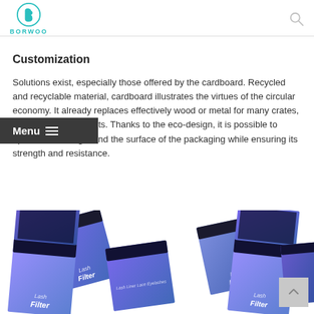BORWOO
Customization
Solutions exist, especially those offered by the cardboard. Recycled and recyclable material, cardboard illustrates the virtues of the circular economy. It already replaces effectively wood or metal for many crates, packs and even pallets. Thanks to the eco-design, it is possible to optimize the weight and the surface of the packaging while ensuring its strength and resistance.
[Figure (photo): Product packaging boxes — cosmetic eyelash packaging boxes shown in blue/purple gradient design, displayed in two groups at the bottom of the page.]